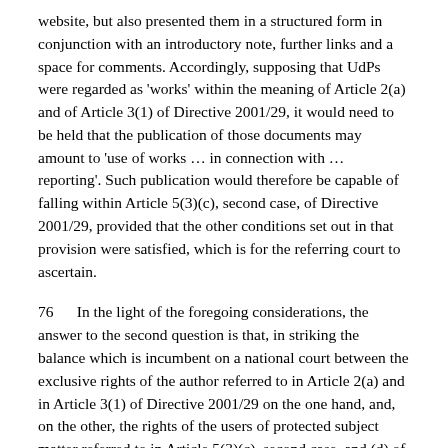website, but also presented them in a structured form in conjunction with an introductory note, further links and a space for comments. Accordingly, supposing that UdPs were regarded as 'works' within the meaning of Article 2(a) and of Article 3(1) of Directive 2001/29, it would need to be held that the publication of those documents may amount to 'use of works … in connection with … reporting'. Such publication would therefore be capable of falling within Article 5(3)(c), second case, of Directive 2001/29, provided that the other conditions set out in that provision were satisfied, which is for the referring court to ascertain.
76      In the light of the foregoing considerations, the answer to the second question is that, in striking the balance which is incumbent on a national court between the exclusive rights of the author referred to in Article 2(a) and in Article 3(1) of Directive 2001/29 on the one hand, and, on the other, the rights of the users of protected subject matter referred to in Article 5(3)(c), second case, and (d) of that directive, the latter of which derogate from the